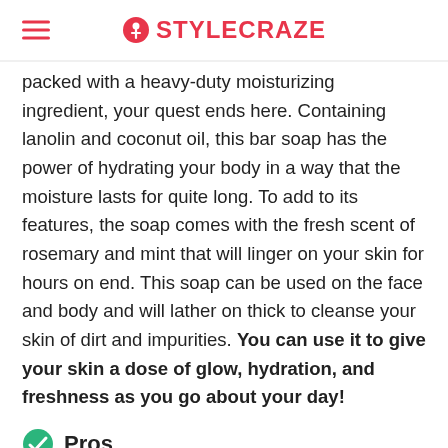STYLECRAZE
packed with a heavy-duty moisturizing ingredient, your quest ends here. Containing lanolin and coconut oil, this bar soap has the power of hydrating your body in a way that the moisture lasts for quite long. To add to its features, the soap comes with the fresh scent of rosemary and mint that will linger on your skin for hours on end. This soap can be used on the face and body and will lather on thick to cleanse your skin of dirt and impurities. You can use it to give your skin a dose of glow, hydration, and freshness as you go about your day!
Pros